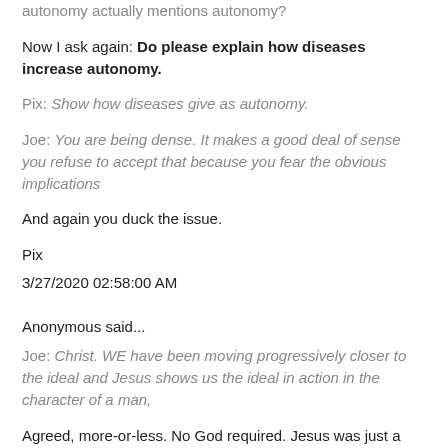autonomy actually mentions autonomy?
Now I ask again: Do please explain how diseases increase autonomy.
Pix: Show how diseases give as autonomy.
Joe: You are being dense. It makes a good deal of sense you refuse to accept that because you fear the obvious implications
And again you duck the issue.
Pix
3/27/2020 02:58:00 AM
Anonymous said...
Joe: Christ. WE have been moving progressively closer to the ideal and Jesus shows us the ideal in action in the character of a man,
Agreed, more-or-less. No God required. Jesus was just a man, and we have been moving